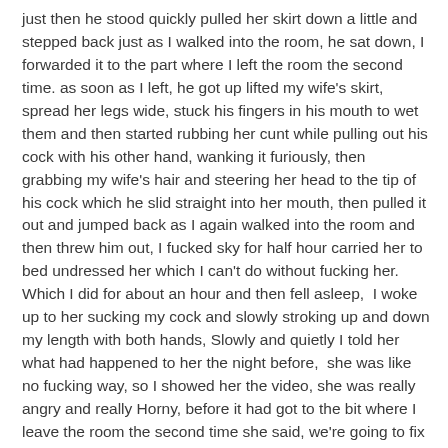just then he stood quickly pulled her skirt down a little and stepped back just as I walked into the room, he sat down, I forwarded it to the part where I left the room the second time. as soon as I left, he got up lifted my wife's skirt, spread her legs wide, stuck his fingers in his mouth to wet them and then started rubbing her cunt while pulling out his cock with his other hand, wanking it furiously, then grabbing my wife's hair and steering her head to the tip of his cock which he slid straight into her mouth, then pulled it out and jumped back as I again walked into the room and then threw him out, I fucked sky for half hour carried her to bed undressed her which I can't do without fucking her. Which I did for about an hour and then fell asleep,  I woke up to her sucking my cock and slowly stroking up and down my length with both hands, Slowly and quietly I told her what had happened to her the night before,  she was like no fucking way, so I showed her the video, she was really angry and really Horny, before it had got to the bit where I leave the room the second time she said, we're going to fix that cunt, she jumped on my cock and